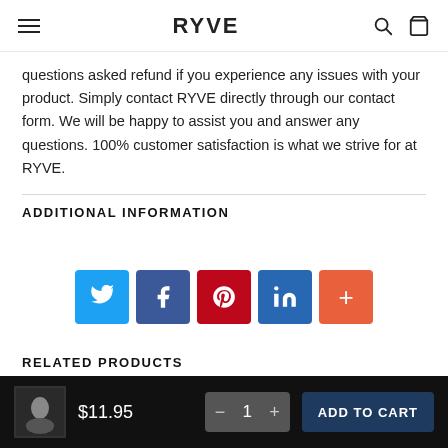RYVE
questions asked refund if you experience any issues with your product. Simply contact RYVE directly through our contact form. We will be happy to assist you and answer any questions. 100% customer satisfaction is what we strive for at RYVE.
ADDITIONAL INFORMATION
[Figure (infographic): Social share buttons: Twitter (blue), Facebook (dark blue), Pinterest (red), LinkedIn (blue), plus/more (orange-red)]
RELATED PRODUCTS
$11.95  −  1  +  ADD TO CART